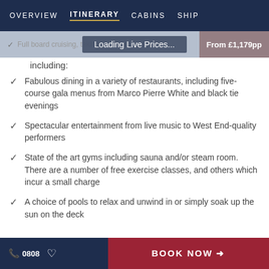OVERVIEW  ITINERARY  CABINS  SHIP
Loading Live Prices...  From £1,179pp
including:
Fabulous dining in a variety of restaurants, including five-course gala menus from Marco Pierre White and black tie evenings
Spectacular entertainment from live music to West End-quality performers
State of the art gyms including sauna and/or steam room. There are a number of free exercise classes, and others which incur a small charge
A choice of pools to relax and unwind in or simply soak up the sun on the deck
0808  ♡  BOOK NOW →